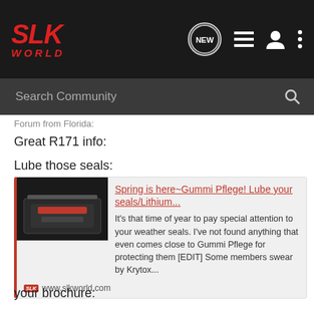[Figure (screenshot): SLK World forum website header with logo, navigation icons (NEW chat, list, user, dots), and search bar reading 'Search Community']
Forum from Florida:
Great R171 info:
Lube those seals:
Spring is here~Gummi Pflege! Lube your seals/Lithium... — It's that time of year to pay special attention to your weather seals. I've not found anything that even comes close to Gummi Pflege for protecting them [EDIT] Some members swear by Krytox... — www.slkworld.com
your brochure: